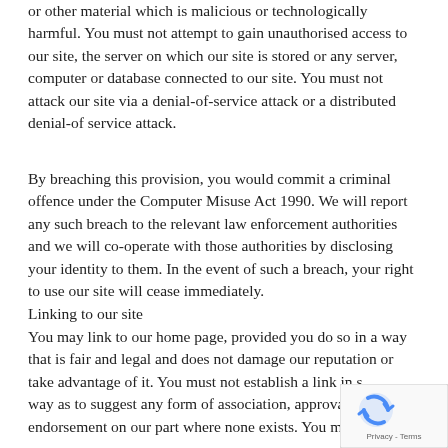or other material which is malicious or technologically harmful. You must not attempt to gain unauthorised access to our site, the server on which our site is stored or any server, computer or database connected to our site. You must not attack our site via a denial-of-service attack or a distributed denial-of service attack.
By breaching this provision, you would commit a criminal offence under the Computer Misuse Act 1990. We will report any such breach to the relevant law enforcement authorities and we will co-operate with those authorities by disclosing your identity to them. In the event of such a breach, your right to use our site will cease immediately.
Linking to our site
You may link to our home page, provided you do so in a way that is fair and legal and does not damage our reputation or take advantage of it. You must not establish a link in such a way as to suggest any form of association, approval or endorsement on our part where none exists. You must not
[Figure (other): reCAPTCHA badge with spinning arrows icon and 'Privacy - Terms' text]